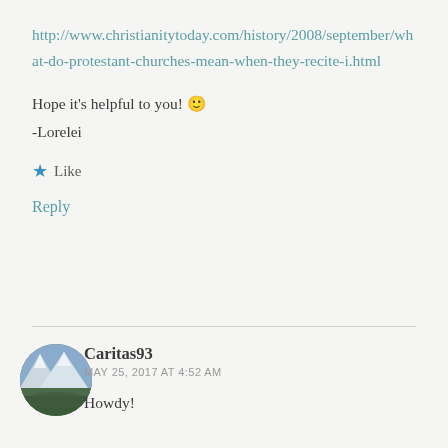http://www.christianitytoday.com/history/2008/september/what-do-protestant-churches-mean-when-they-recite-i.html
Hope it's helpful to you! 🙂
-Lorelei
★ Like
Reply
Caritas93
MAY 25, 2017 AT 4:52 AM
Howdy!